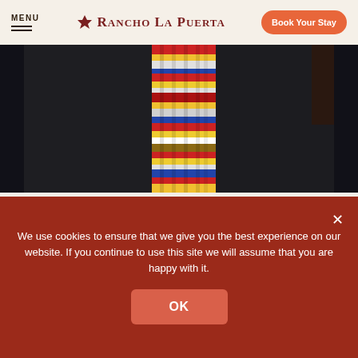MENU | RANCHO LA PUERTA | Book Your Stay
[Figure (photo): Person in dark jacket wearing a colorful Kente cloth scarf/stole with red, yellow, blue, and white patterns]
AT THE RANCH
Dr. Beverly Daniel Tatum on Race and Education
Read More →
We use cookies to ensure that we give you the best experience on our website. If you continue to use this site we will assume that you are happy with it.
OK